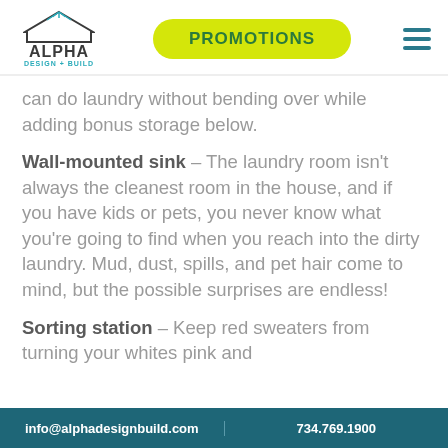ALPHA DESIGN + BUILD | PROMOTIONS
can do laundry without bending over while adding bonus storage below.
Wall-mounted sink – The laundry room isn't always the cleanest room in the house, and if you have kids or pets, you never know what you're going to find when you reach into the dirty laundry. Mud, dust, spills, and pet hair come to mind, but the possible surprises are endless!
Sorting station – Keep red sweaters from turning your whites pink and
info@alphadesignbuild.com   734.769.1900